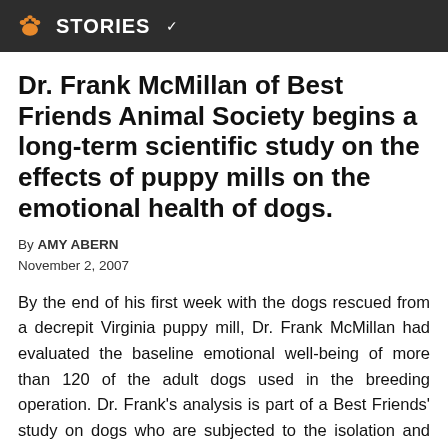STORIES
Dr. Frank McMillan of Best Friends Animal Society begins a long-term scientific study on the effects of puppy mills on the emotional health of dogs.
By AMY ABERN
November 2, 2007
By the end of his first week with the dogs rescued from a decrepit Virginia puppy mill, Dr. Frank McMillan had evaluated the baseline emotional well-being of more than 120 of the adult dogs used in the breeding operation. Dr. Frank's analysis is part of a Best Friends' study on dogs who are subjected to the isolation and deprivation